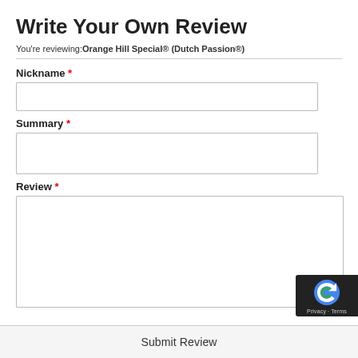Write Your Own Review
You're reviewing: Orange Hill Special® (Dutch Passion®)
Nickname *
Summary *
Review *
Submit Review